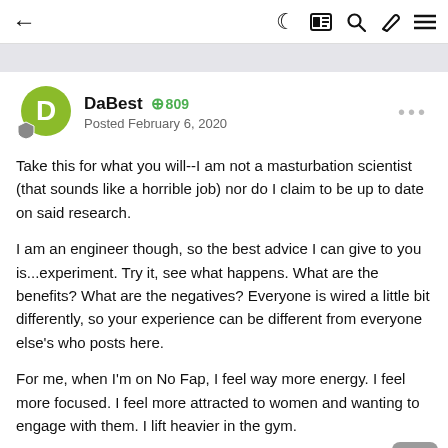← [breadcrumb] ☾ 囗 🔍 ✏ ≡
DaBest ⊕ 809
Posted February 6, 2020
Take this for what you will--I am not a masturbation scientist (that sounds like a horrible job) nor do I claim to be up to date on said research.
I am an engineer though, so the best advice I can give to you is...experiment. Try it, see what happens. What are the benefits? What are the negatives? Everyone is wired a little bit differently, so your experience can be different from everyone else's who posts here.
For me, when I'm on No Fap, I feel way more energy. I feel more focused. I feel more attracted to women and wanting to engage with them. I lift heavier in the gym.
When I'm...uh...not on No Fap, I feel completely lethargic, craving